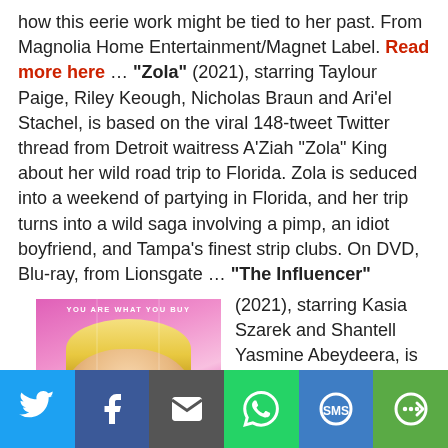how this eerie work might be tied to her past. From Magnolia Home Entertainment/Magnet Label. Read more here … "Zola" (2021), starring Taylour Paige, Riley Keough, Nicholas Braun and Ari'el Stachel, is based on the viral 148-tweet Twitter thread from Detroit waitress A'Ziah "Zola" King about her wild road trip to Florida. Zola is seduced into a weekend of partying in Florida, and her trip turns into a wild saga involving a pimp, an idiot boyfriend, and Tampa's finest strip clubs. On DVD, Blu-ray, from Lionsgate … "The Influencer" (2021), starring Kasia Szarek and Shantell Yasmine Abeydeera, is a social media satire thriller. Alicia Douvris and
[Figure (photo): Movie poster for 'The Influencer' (2021) showing stylized colorful portrait of a woman with pink/blonde hair, text 'YOU ARE WHAT YOU BUY' at top and 'FAKE' text overlaid]
Share bar with Twitter, Facebook, Email, WhatsApp, SMS, and More buttons